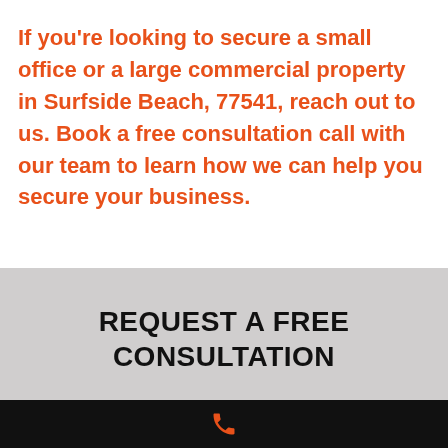If you're looking to secure a small office or a large commercial property in Surfside Beach, 77541, reach out to us. Book a free consultation call with our team to learn how we can help you secure your business.
REQUEST A FREE CONSULTATION
Enter Name
[Figure (illustration): Orange phone handset icon on black footer bar]